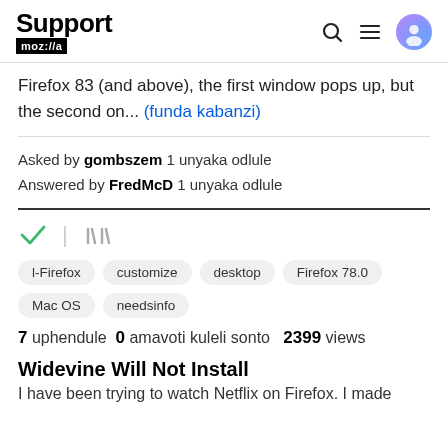Support mozilla
Firefox 83 (and above), the first window pops up, but the second on... (funda kabanzi)
Asked by gombszem 1 unyaka odlule
Answered by FredMcD 1 unyaka odlule
[Figure (other): Check mark icon and library/stack icon]
l-Firefox  customize  desktop  Firefox 78.0  Mac OS  needsinfo
7 uphendule  0 amavoti kuleli sonto  2399 views
Widevine Will Not Install
I have been trying to watch Netflix on Firefox. I made